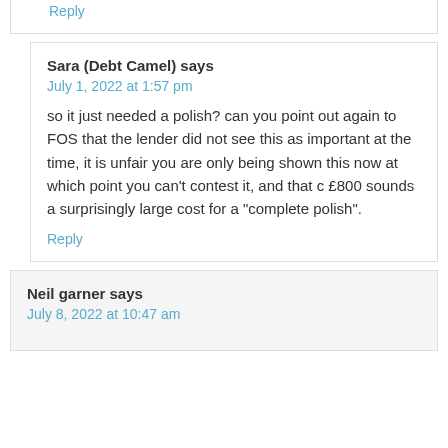Reply
Sara (Debt Camel) says
July 1, 2022 at 1:57 pm
so it just needed a polish? can you point out again to FOS that the lender did not see this as important at the time, it is unfair you are only being shown this now at which point you can't contest it, and that c £800 sounds a surprisingly large cost for a "complete polish".
Reply
Neil garner says
July 8, 2022 at 10:47 am